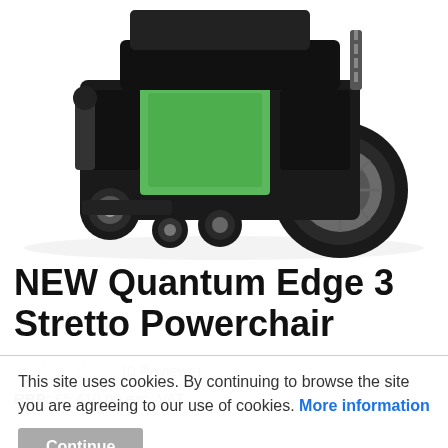[Figure (photo): Bottom portion of a black and green electric powerchair/wheelchair showing wheels, motors, and chassis on white background]
NEW Quantum Edge 3 Stretto Powerchair
(0 Reviews)
RRP: £5,410.00 exc. VAT
This site uses cookies. By continuing to browse the site you are agreeing to our use of cookies. More information
Continue
Out of stock